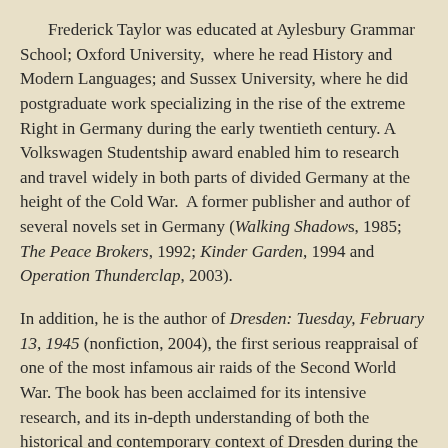Frederick Taylor was educated at Aylesbury Grammar School; Oxford University, where he read History and Modern Languages; and Sussex University, where he did postgraduate work specializing in the rise of the extreme Right in Germany during the early twentieth century. A Volkswagen Studentship award enabled him to research and travel widely in both parts of divided Germany at the height of the Cold War. A former publisher and author of several novels set in Germany (Walking Shadows, 1985; The Peace Brokers, 1992; Kinder Garden, 1994 and Operation Thunderclap, 2003).
In addition, he is the author of Dresden: Tuesday, February 13, 1945 (nonfiction, 2004), the first serious reappraisal of one of the most infamous air raids of the Second World War. The book has been acclaimed for its intensive research, and its in-depth understanding of both the historical and contemporary context of Dresden during the conflict; and editor and translator of various works from German, including The Goebbels Diaries, 1939-1941. The